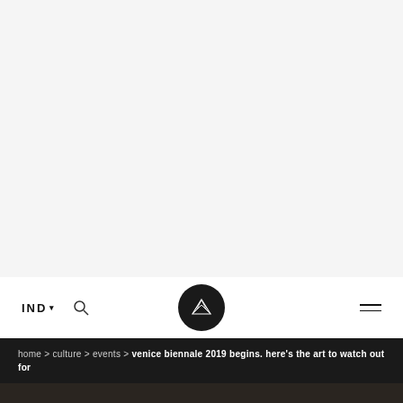[Figure (photo): Large light gray area representing an image placeholder at the top of the page]
IND ▾   [search icon]   [logo crown icon]   [hamburger menu]
home > culture > events > venice biennale 2019 begins. here's the art to watch out for
[Figure (photo): Dark toned photograph at the bottom edge of the page]